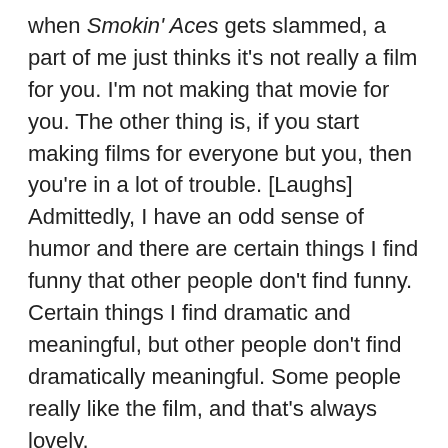when Smokin' Aces gets slammed, a part of me just thinks it's not really a film for you. I'm not making that movie for you. The other thing is, if you start making films for everyone but you, then you're in a lot of trouble. [Laughs] Admittedly, I have an odd sense of humor and there are certain things I find funny that other people don't find funny. Certain things I find dramatic and meaningful, but other people don't find dramatically meaningful. Some people really like the film, and that's always lovely.
I saw this interview where you got asked about why you wanted to put yourself in a bind making